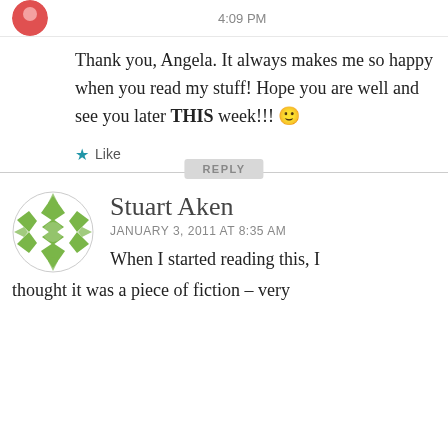4:09 PM
Thank you, Angela. It always makes me so happy when you read my stuff! Hope you are well and see you later THIS week!!! 🙂
★ Like
REPLY
Stuart Aken
JANUARY 3, 2011 AT 8:35 AM
When I started reading this, I thought it was a piece of fiction – very